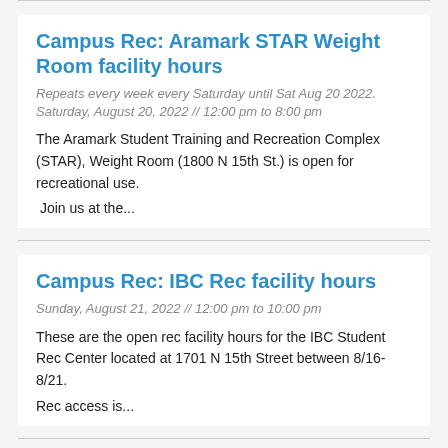Campus Rec: Aramark STAR Weight Room facility hours
Repeats every week every Saturday until Sat Aug 20 2022. Saturday, August 20, 2022 // 12:00 pm to 8:00 pm
The Aramark Student Training and Recreation Complex (STAR), Weight Room (1800 N 15th St.) is open for recreational use.
Join us at the...
Campus Rec: IBC Rec facility hours
Sunday, August 21, 2022 // 12:00 pm to 10:00 pm
These are the open rec facility hours for the IBC Student Rec Center located at 1701 N 15th Street between 8/16-8/21.
Rec access is...